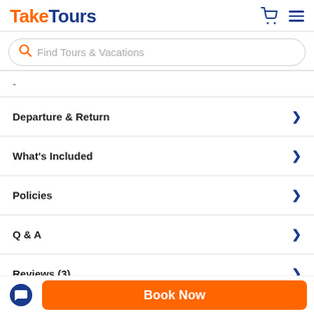TakeTours
Find Tours & Vacations
-
Departure & Return
What's Included
Policies
Q & A
Reviews (3)
Photos
Book Now